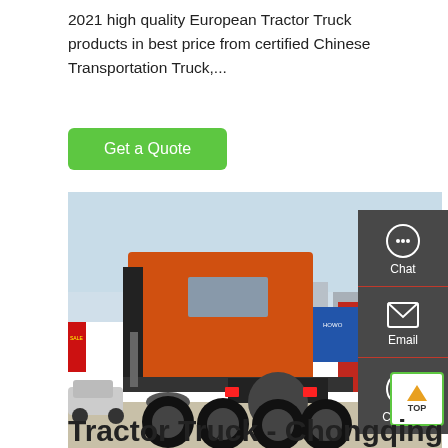2021 high quality European Tractor Truck products in best price from certified Chinese Transportation Truck,...
Get a Quote
[Figure (photo): Rear view of an orange HOWO tractor truck in a parking lot, with other red trucks and a blue banner visible in the background.]
Chat
Email
Contact
TOP
Tractor Truck - Chongqing